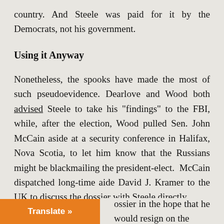country. And Steele was paid for it by the Democrats, not his government.
Using it Anyway
Nonetheless, the spooks have made the most of such pseudo-evidence. Dearlove and Wood both advised Steele to take his “findings” to the FBI, while, after the election, Wood pulled Sen. John McCain aside at a security conference in Halifax, Nova Scotia, to let him know that the Russians might be blackmailing the president-elect. McCain dispatched long-time aide David J. Kramer to the UK to discuss the dossier with Steele directly.
Although Kramer denies it, The New Yorker found a former national-security official who says he spoke with him at the time, and that Kramer’s goal was to have McCain confront [Trump with the d]ossier in the hope that he would resign on the